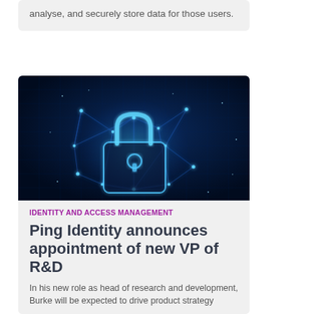analyse, and securely store data for those users.
[Figure (illustration): Digital glowing padlock on dark blue background with connected network nodes and light particles, representing cybersecurity and identity management.]
IDENTITY AND ACCESS MANAGEMENT
Ping Identity announces appointment of new VP of R&D
In his new role as head of research and development, Burke will be expected to drive product strategy